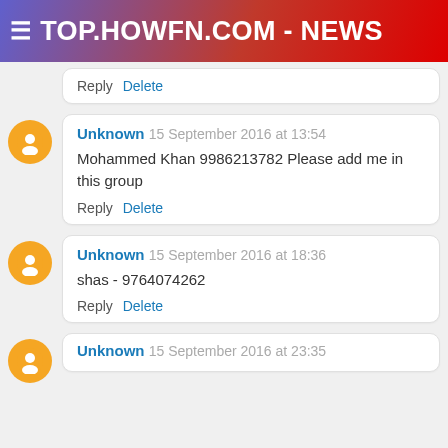≡ TOP.HOWFN.COM - NEWS
Reply   Delete
Unknown  15 September 2016 at 13:54
Mohammed Khan 9986213782 Please add me in this group
Reply   Delete
Unknown  15 September 2016 at 18:36
shas - 9764074262
Reply   Delete
Unknown  15 September 2016 at 23:35